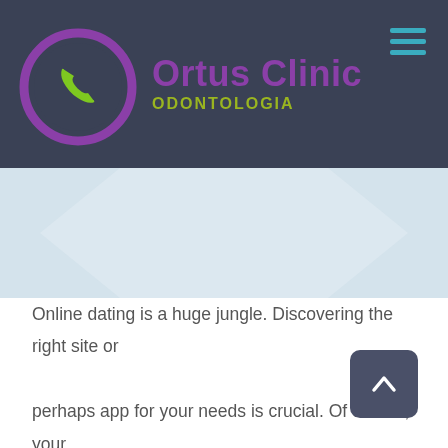[Figure (logo): Ortus Clinic Odontologia logo with purple circle and green phone icon, dark navy header background with hamburger menu icon]
[Figure (illustration): Light blue chevron/banner decorative section below header]
Online dating is a huge jungle. Discovering the right site or perhaps app for your needs is crucial. Of course, your decisions best mail order bride website about which sites and applications to use should affect your life and